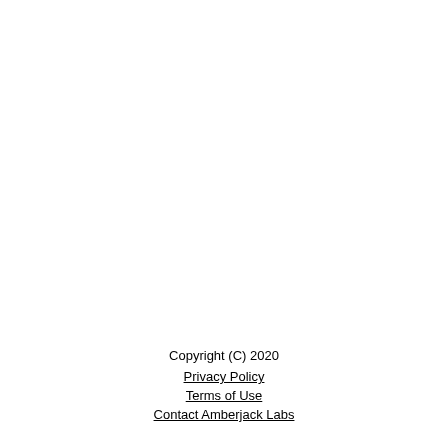Copyright (C) 2020
Privacy Policy
Terms of Use
Contact Amberjack Labs
[Figure (logo): Row of five social media icons: LinkedIn, Facebook, Twitter, Instagram, YouTube]